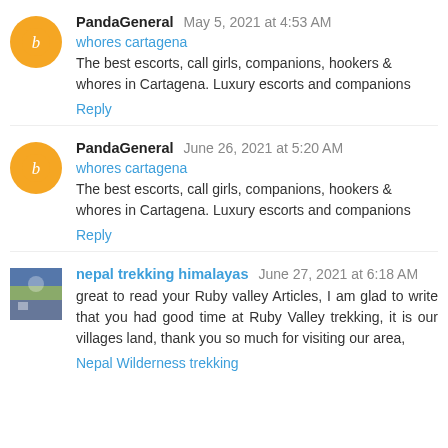PandaGeneral May 5, 2021 at 4:53 AM
whores cartagena
The best escorts, call girls, companions, hookers & whores in Cartagena. Luxury escorts and companions
Reply
PandaGeneral June 26, 2021 at 5:20 AM
whores cartagena
The best escorts, call girls, companions, hookers & whores in Cartagena. Luxury escorts and companions
Reply
nepal trekking himalayas June 27, 2021 at 6:18 AM
great to read your Ruby valley Articles, I am glad to write that you had good time at Ruby Valley trekking, it is our villages land, thank you so much for visiting our area,
Nepal Wilderness trekking